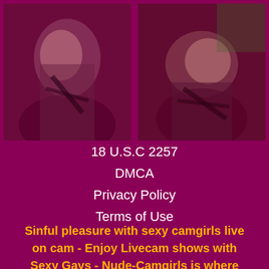[Figure (photo): Two photos side by side on dark magenta background: left photo shows a dark-haired woman in black lingerie, right photo shows a blonde woman in black bikini bottoms]
18 U.S.C 2257
DMCA
Privacy Policy
Terms of Use
Sinful pleasure with sexy camgirls live on cam - Enjoy Livecam shows with Sexy Gays - Nude-Camgirls is where women go when they're horny and want to be told how sexy they are while they masturbate - Your desire for live